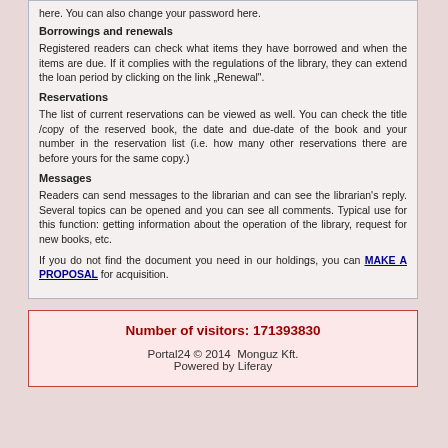here. You can also change your password here.
Borrowings and renewals
Registered readers can check what items they have borrowed and when the items are due. If it complies with the regulations of the library, they can extend the loan period by clicking on the link „Renewal".
Reservations
The list of current reservations can be viewed as well. You can check the title /copy of the reserved book, the date and due-date of the book and your number in the reservation list (i.e. how many other reservations there are before yours for the same copy.)
Messages
Readers can send messages to the librarian and can see the librarian's reply. Several topics can be opened and you can see all comments. Typical use for this function: getting information about the operation of the library, request for new books, etc.
If you do not find the document you need in our holdings, you can MAKE A PROPOSAL for acquisition.
Number of visitors: 171393830
Portal24 © 2014  Monguz Kft.
Powered by Liferay